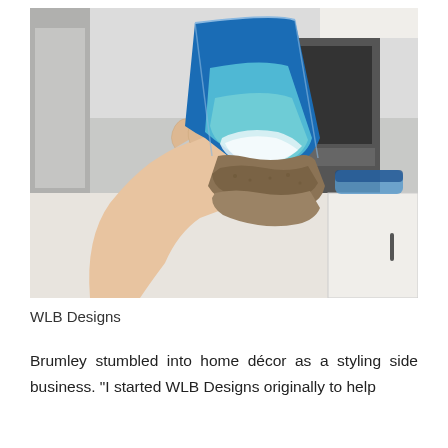[Figure (photo): A hand holding up a resin art piece shaped like a coastal scene — the piece features blue ocean resin with white foam wave details and a rough natural stone/wood base. The background shows a kitchen counter with a stove, cabinetry, and another similar resin piece on the counter.]
WLB Designs
Brumley stumbled into home décor as a styling side business. "I started WLB Designs originally to help